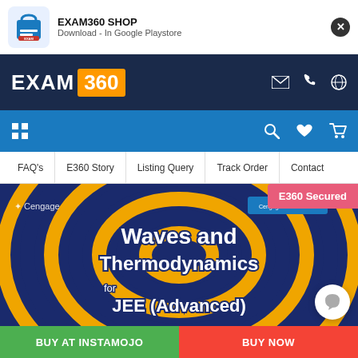[Figure (screenshot): Exam360 Shop app notification bar with shopping bag icon, title EXAM360 SHOP, subtitle Download - In Google Playstore, and close button]
[Figure (logo): EXAM 360 logo on dark navy background with orange box around 360, and envelope, phone, globe icons on right]
[Figure (screenshot): Blue navigation toolbar with grid/hamburger icon on left and search, heart, cart icons on right]
FAQ's   E360 Story   Listing Query   Track Order   Contact
[Figure (photo): Product cover image for Cengage Waves and Thermodynamics for JEE (Advanced) book with swirling blue and orange pattern background. E360 Secured badge in pink top right.]
[Figure (screenshot): BUY AT INSTAMOJO button (green) and BUY NOW button (red) at bottom of page]